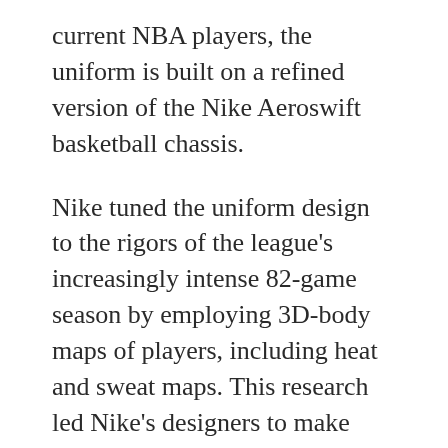current NBA players, the uniform is built on a refined version of the Nike Aeroswift basketball chassis.
Nike tuned the uniform design to the rigors of the league's increasingly intense 82-game season by employing 3D-body maps of players, including heat and sweat maps. This research led Nike's designers to make significant changes to the weight, fit and construction of the uniforms — paying special attention to enabling agility.
NBA players, including members of last summer's gold medal-winning USA Basketball team, tested early versions of the uniforms